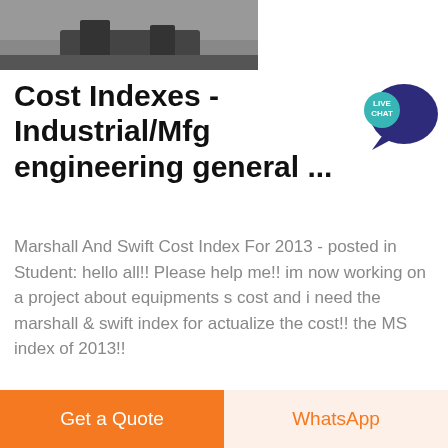[Figure (photo): Partial top image of industrial/mechanical equipment (dark metal parts), cropped at top]
Cost Indexes - Industrial/Mfg engineering general ...
[Figure (other): Live Chat speech bubble badge, dark blue/teal color with text LIVE CHAT in white]
Marshall And Swift Cost Index For 2013 - posted in Student: hello all!! Please help me!! im now working on a project about equipments s cost and i need the marshall & swift index for actualize the cost!! the MS index of 2013!!
[Figure (photo): Bottom industrial factory interior photo, showing large metal structures and equipment inside a warehouse]
Get a Quote
WhatsApp